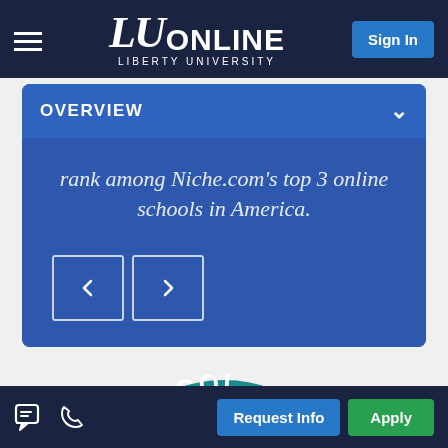LU ONLINE – LIBERTY UNIVERSITY | Sign In
OVERVIEW
rank among Niche.com's top 3 online schools in America.
[Figure (screenshot): Circular badge/seal partially visible, reading ONLINE COLL...]
Request Info | Apply